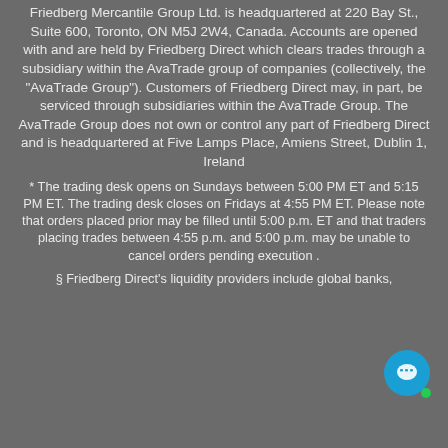Friedberg Mercantile Group Ltd. is headquartered at 220 Bay St., Suite 600, Toronto, ON M5J 2W4, Canada. Accounts are opened with and are held by Friedberg Direct which clears trades through a subsidiary within the AvaTrade group of companies (collectively, the "AvaTrade Group"). Customers of Friedberg Direct may, in part, be serviced through subsidiaries within the AvaTrade Group. The AvaTrade Group does not own or control any part of Friedberg Direct and is headquartered at Five Lamps Place, Amiens Street, Dublin 1, Ireland
* The trading desk opens on Sundays between 5:00 PM ET and 5:15 PM ET. The trading desk closes on Fridays at 4:55 PM ET. Please note that orders placed prior may be filled until 5:00 p.m. ET and that traders placing trades between 4:55 p.m. and 5:00 p.m. may be unable to cancel orders pending execution .
§ Friedberg Direct's liquidity providers include global banks,